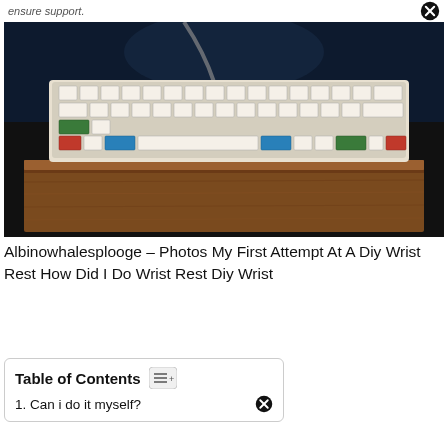ensure support.
[Figure (photo): A compact mechanical keyboard with white, green, blue, and red keycaps sitting on a wooden wrist rest, photographed on a dark surface]
Albinowhalesplooge – Photos My First Attempt At A Diy Wrist Rest How Did I Do Wrist Rest Diy Wrist
Table of Contents
1. Can i do it myself?